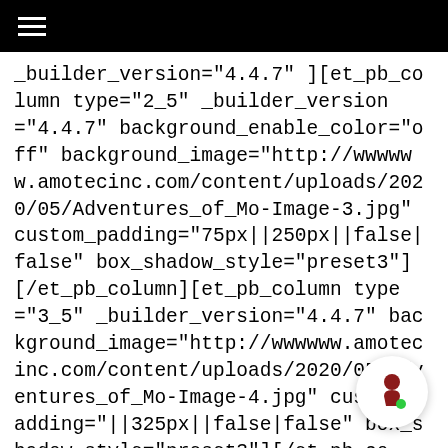≡
_builder_version="4.4.7" ][et_pb_column type="2_5" _builder_version="4.4.7" background_enable_color="off" background_image="http://wwwwww.amotecinc.com/content/uploads/2020/05/Adventures_of_Mo-Image-3.jpg" custom_padding="75px||250px||false|false" box_shadow_style="preset3"][/et_pb_column][et_pb_column type="3_5" _builder_version="4.4.7" background_image="http://wwwwww.amotecinc.com/content/uploads/2020/05/Adventures_of_Mo-Image-4.jpg" custom_padding="||325px||false|false" box_shadow_style="preset3"][/et_pb_co… [/et_pb_row][et_pb_row